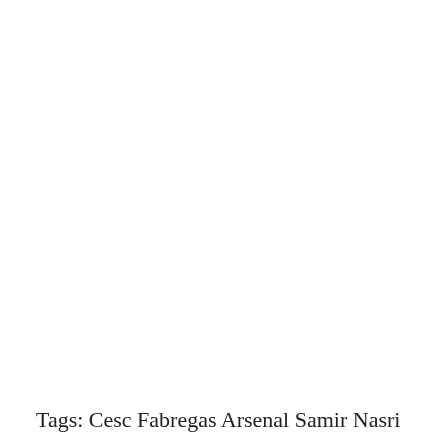Tags: Cesc Fabregas Arsenal Samir Nasri